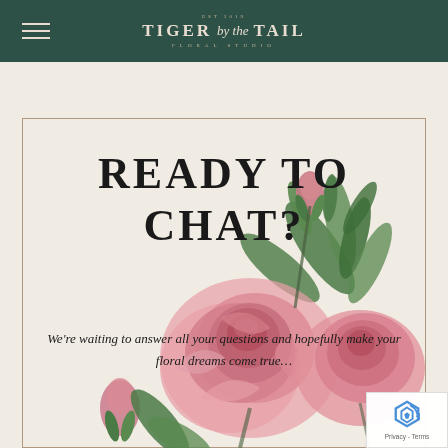EST 2019 TIGER by the TAIL FLORAL STUDIO
[Figure (illustration): Botanical illustration of large pink roses and peonies with green leaves and buds, rendered in a vintage style]
READY TO CHAT?
We're waiting to answer all your questions and hopefully make your floral dreams come true…